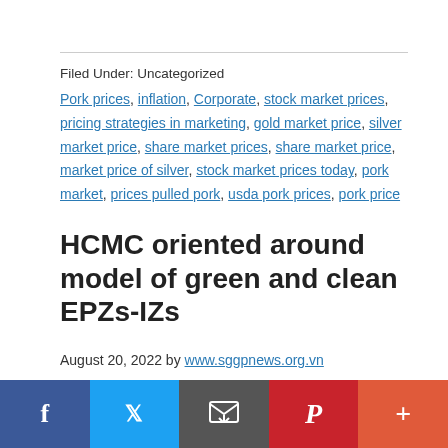Filed Under: Uncategorized
Pork prices, inflation, Corporate, stock market prices, pricing strategies in marketing, gold market price, silver market price, share market prices, share market price, market price of silver, stock market prices today, pork market, prices pulled pork, usda pork prices, pork price
HCMC oriented around model of green and clean EPZs-IZs
August 20, 2022 by www.sggpnews.org.vn
An aerial view of wastewater treatment plant of